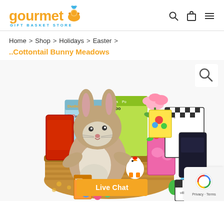gourmet GIFT BASKET STORE
Home > Shop > Holidays > Easter >
..Cottontail Bunny Meadows
[Figure (photo): Easter gift basket called Cottontail Bunny Meadows containing a stuffed bunny plush toy, children's activity books (Dudley's Dr and Doodle, Trampoline Gribble), a pink cup with candy/jelly beans, sticker books, Village game boxes, and other Easter items arranged in a decorative basket]
Live Chat
Privacy · Terms